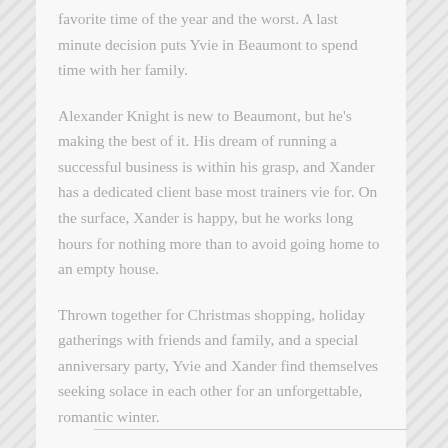favorite time of the year and the worst. A last minute decision puts Yvie in Beaumont to spend time with her family.
Alexander Knight is new to Beaumont, but he's making the best of it. His dream of running a successful business is within his grasp, and Xander has a dedicated client base most trainers vie for. On the surface, Xander is happy, but he works long hours for nothing more than to avoid going home to an empty house.
Thrown together for Christmas shopping, holiday gatherings with friends and family, and a special anniversary party, Yvie and Xander find themselves seeking solace in each other for an unforgettable, romantic winter.